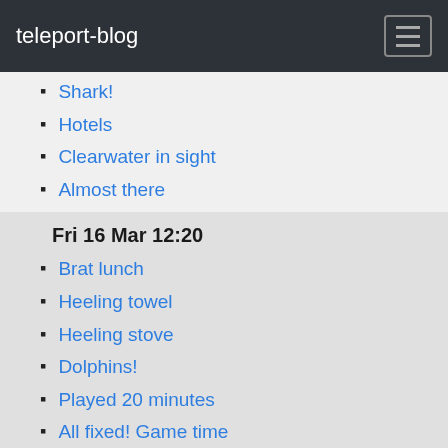teleport-blog
Shark!
Hotels
Clearwater in sight
Almost there
Fri 16 Mar 12:20
Brat lunch
Heeling towel
Heeling stove
Dolphins!
Played 20 minutes
All fixed! Game time
transmission cable out
Thu 15 Mar 09:03
Setting up fishing
Wed 14 Mar 22:00
Code zero out 10 knot wind
Cat island channel
Nothing to sea
207